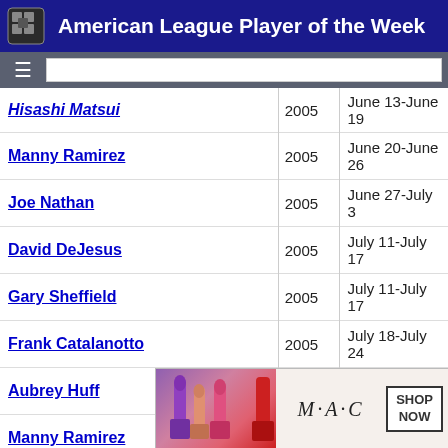American League Player of the Week
| Player | Year | Week |
| --- | --- | --- |
| Hisashi Matsui | 2005 | June 13-June 19 |
| Manny Ramirez | 2005 | June 20-June 26 |
| Joe Nathan | 2005 | June 27-July 3 |
| David DeJesus | 2005 | July 11-July 17 |
| Gary Sheffield | 2005 | July 11-July 17 |
| Frank Catalanotto | 2005 | July 18-July 24 |
| Aubrey Huff | 2005 | July 25-July 31 |
| Manny Ramirez | 2005 | August 1-August 7 |
| Vladimir Guerrero | 2005 | August 8-August 14 |
| Lew Ford | 2005 | August 15-August 21 |
| Victor Martinez | 2005 | August 22-August 28 |
| Mark Teixeira | 2005 | August 29-September 4 |
| Coco | 2005 | September 5-September 11 |
| Robin | 2005 | September 12-September 18 |
[Figure (advertisement): MAC cosmetics advertisement with lipsticks, MAC logo, and SHOP NOW button with CLOSE button overlay]